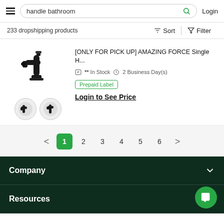handle bathroom | Login
233 dropshipping products
[Figure (photo): Black single-handle bathroom faucet product image with two circular thumbnail views]
[ONLY FOR PICK UP] AMAZING FORCE Single H...
** In Stock  2 Business Day(s)
Prepaid Label
Login to See Price
< 1 2 3 4 5 6 >
Company
Resources